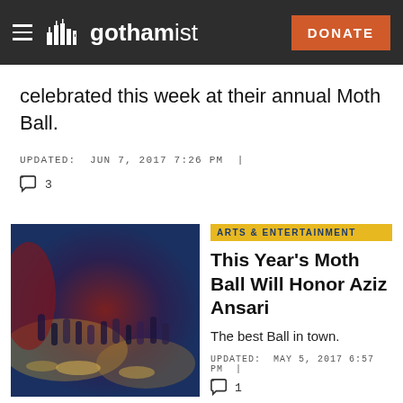gothamist — DONATE
celebrated this week at their annual Moth Ball.
UPDATED:  JUN 7, 2017 7:26 PM  |  3
ARTS & ENTERTAINMENT
This Year's Moth Ball Will Honor Aziz Ansari
The best Ball in town.
UPDATED:  MAY 5, 2017 6:57 PM  |  1